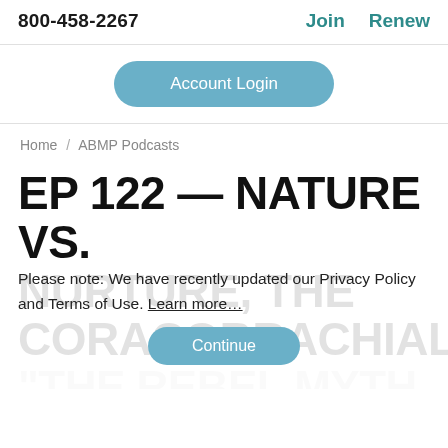800-458-2267   Join   Renew
Account Login
Home / ABMP Podcasts
EP 122 — NATURE VS. NURTURE, THE CORACOBRACHIALIS:
Please note: We have recently updated our Privacy Policy and Terms of Use. Learn more…
Continue